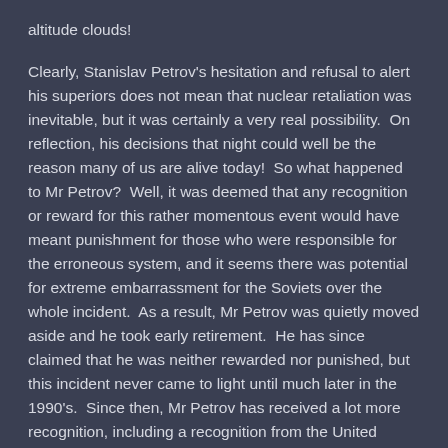altitude clouds!
Clearly, Stanislav Petrov's hesitation and refusal to alert his superiors does not mean that nuclear retaliation was inevitable, but it was certainly a very real possibility.  On reflection, his decisions that night could well be the reason many of us are alive today!  So what happened to Mr Petrov?  Well, it was deemed that any recognition or reward for this rather momentous event would have meant punishment for those who were responsible for the erroneous system, and it seems there was potential for extreme embarrassment for the Soviets over the whole incident.  As a result, Mr Petrov was quietly moved aside and he took early retirement.  He has since claimed that he was neither rewarded nor punished, but this incident never came to light until much later in the 1990's.  Since then, Mr Petrov has received a lot more recognition, including a recognition from the United Nations in 2006.